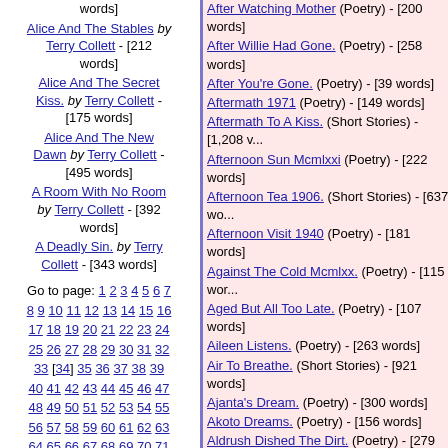words]
Alice And The Stables by Terry Collett - [212 words]
Alice And The Secret Kiss. by Terry Collett - [175 words]
Alice And The New Dawn by Terry Collett - [495 words]
A Room With No Room by Terry Collett - [392 words]
A Deadly Sin. by Terry Collett - [343 words]
Go to page: 1 2 3 4 5 6 7 8 9 10 11 12 13 14 15 16 17 18 19 20 21 22 23 24 25 26 27 28 29 30 31 32 33 [34] 35 36 37 38 39 40 41 42 43 44 45 46 47 48 49 50 51 52 53 54 55 56 57 58 59 60 61 62 63 64 65 66 67 68 69 70 71 72 73 74 75 76 77 78 79 80 81 82 83 84 85 86 87 88 89 90 91 92 93 94 95 96 97 98 99 100 101 102 103 104 105 106 107
After Watching Mother (Poetry) - [200 words]
After Willie Had Gone. (Poetry) - [258 words]
After You're Gone. (Poetry) - [39 words]
Aftermath 1971 (Poetry) - [149 words]
Aftermath To A Kiss. (Short Stories) - [1,208 w...]
Afternoon Sun Mcmlxxi (Poetry) - [222 words]
Afternoon Tea 1906. (Short Stories) - [637 wo...]
Afternoon Visit 1940 (Poetry) - [181 words]
Against The Cold Mcmlxx. (Poetry) - [115 wor...]
Aged But All Too Late. (Poetry) - [107 words]
Aileen Listens. (Poetry) - [263 words]
Air To Breathe. (Short Stories) - [921 words]
Ajanta's Dream. (Poetry) - [300 words]
Akoto Dreams. (Poetry) - [156 words]
Aldrush Dished The Dirt. (Poetry) - [279 word...]
Alice Alone. (Poetry) - [248 words]
Alice And Her Wonderland. (Poetry) - [316 wo...]
Alice And The Caricature. (Poetry) - [177 wor...]
Alice And The Lady's Maid. (Short Stories) - [...]
Alice And The New Dawn (Poetry) - [495 wor...]
Alice And The Photographer. (Poetry) - [126 v...]
Alice And The Row. (Poetry) - [270 words]
Alice And The Secret Kiss. (Poetry) - [175 wo...]
Alice And The Stables (Poetry) - [212 words]
Alice And The Tower. (Poetry) - [534 words]